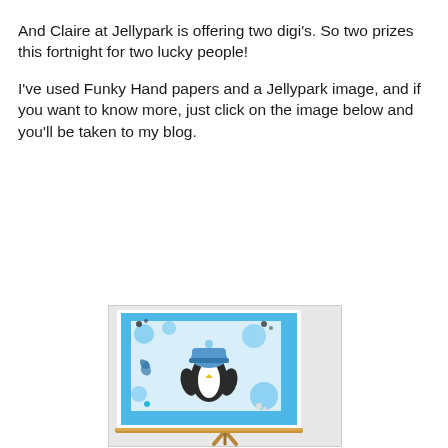And Claire at Jellypark is offering two digi's. So two prizes this fortnight for two lucky people!

I've used Funky Hand papers and a Jellypark image, and if you want to know more, just click on the image below and you'll be taken to my blog.
[Figure (photo): A handmade greeting card featuring a penguin wearing a blue winter hat, displayed on a wooden easel. The card has a blue patterned background with circles and snowflakes, and small gem embellishments.]